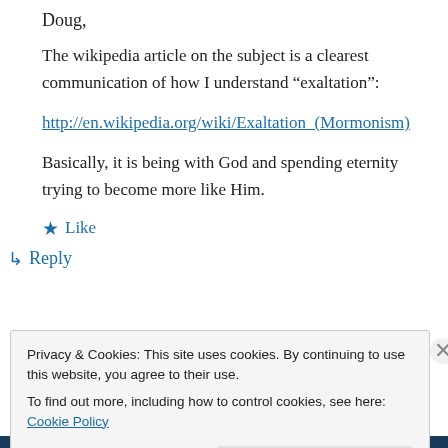Doug,
The wikipedia article on the subject is a clearest communication of how I understand “exaltation”:
http://en.wikipedia.org/wiki/Exaltation_(Mormonism)
Basically, it is being with God and spending eternity trying to become more like Him.
★ Like
↳ Reply
Privacy & Cookies: This site uses cookies. By continuing to use this website, you agree to their use.
To find out more, including how to control cookies, see here: Cookie Policy
Close and accept